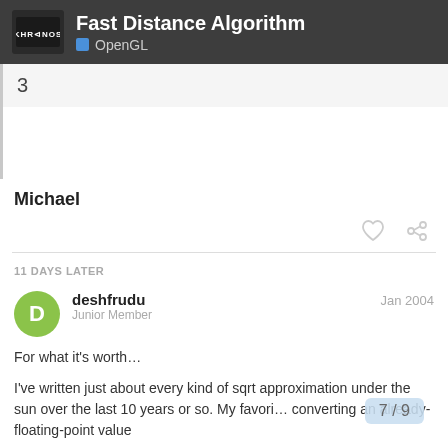Fast Distance Algorithm — OpenGL
3
Michael
11 DAYS LATER
deshfrudu — Junior Member — Jan 2004
For what it's worth…
I've written just about every kind of sqrt approximation under the sun over the last 10 years or so. My favori… converting an already-floating-point value …
7 / 9